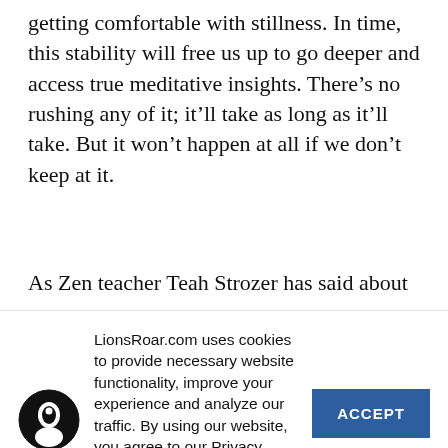getting comfortable with stillness. In time, this stability will free us up to go deeper and access true meditative insights. There’s no rushing any of it; it’ll take as long as it’ll take. But it won’t happen at all if we don’t keep at it.
As Zen teacher Teah Strozer has said about
LionsRoar.com uses cookies to provide necessary website functionality, improve your experience and analyze our traffic. By using our website, you agree to our Privacy Policy and our cookies usage.
ACCEPT
DECLINE